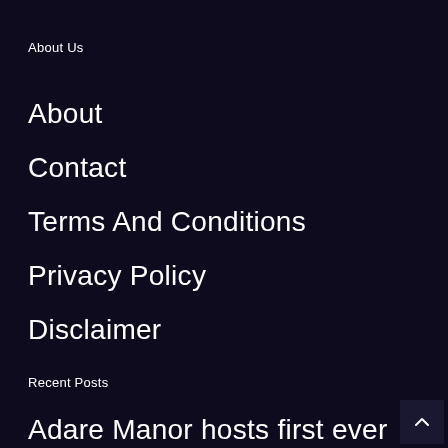About Us
About
Contact
Terms And Conditions
Privacy Policy
Disclaimer
Recent Posts
Adare Manor hosts first ever international golf tournament in 2027